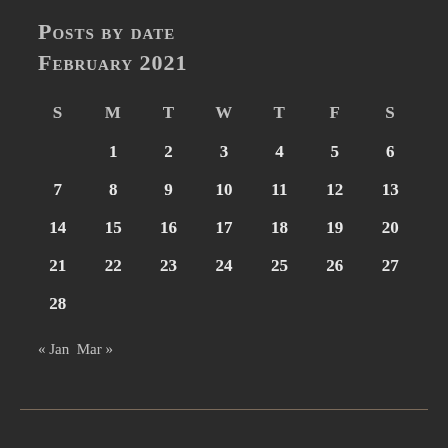Posts by date
February 2021
| S | M | T | W | T | F | S |
| --- | --- | --- | --- | --- | --- | --- |
|  | 1 | 2 | 3 | 4 | 5 | 6 |
| 7 | 8 | 9 | 10 | 11 | 12 | 13 |
| 14 | 15 | 16 | 17 | 18 | 19 | 20 |
| 21 | 22 | 23 | 24 | 25 | 26 | 27 |
| 28 |  |  |  |  |  |  |
« Jan  Mar »